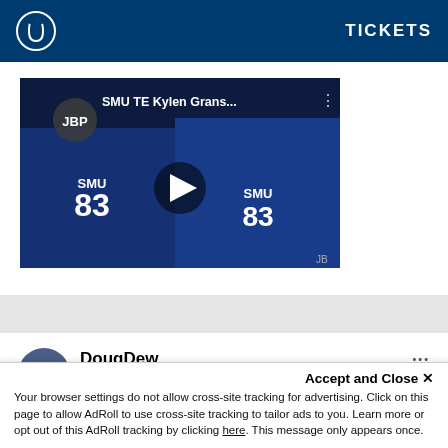TICKETS
[Figure (screenshot): Video thumbnail showing two SMU football players in blue uniforms with #83, with play button overlay. Title reads 'SMU TE Kylen Grans...' with JBP logo.]
DougDew
Posted May 2, 2021
...repsondes to that Nils Blueshoe said:
Accept and Close ✕
Your browser settings do not allow cross-site tracking for advertising. Click on this page to allow AdRoll to use cross-site tracking to tailor ads to you. Learn more or opt out of this AdRoll tracking by clicking here. This message only appears once.